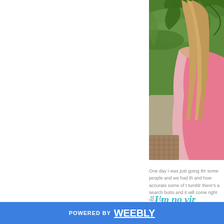[Figure (photo): Woman with long blonde hair wearing a pink tank top, seated on a couch with decorative pillows and tropical plants in the background.]
One day I was just going thr some people and we had th and how accurate some of t tumblr there's a search butto and it will come right up. I ta
“I’m no vir
POWERED BY weebly